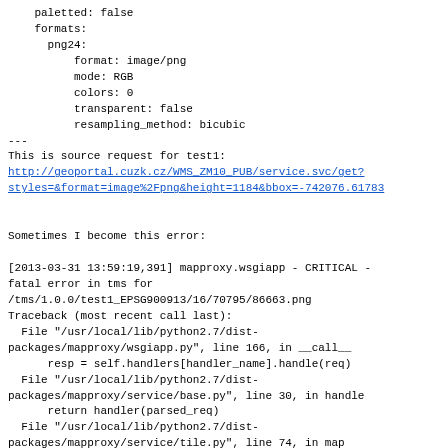paletted: false
    formats:
      png24:
          format: image/png
          mode: RGB
          colors: 0
          transparent: false
          resampling_method: bicubic
---
This is source request for test1:
http://geoportal.cuzk.cz/WMS_ZM10_PUB/service.svc/get?styles=&format=image%2Fpng&height=1184&bbox=-742076.61783...

Sometimes I become this error:

[2013-03-31 13:59:19,391] mapproxy.wsgiapp - CRITICAL - fatal error in tms for
/tms/1.0.0/test1_EPSG900913/16/70795/86663.png
Traceback (most recent call last):
  File "/usr/local/lib/python2.7/dist-packages/mapproxy/wsgiapp.py", line 166, in __call__
      resp = self.handlers[handler_name].handle(req)
  File "/usr/local/lib/python2.7/dist-packages/mapproxy/service/base.py", line 30, in handle
      return handler(parsed_req)
  File "/usr/local/lib/python2.7/dist-packages/mapproxy/service/tile.py", line 74, in map
      tile = layer.render(tile_request,
  use_profiles=tile_request.use_profiles,
  coverage=limit_to)